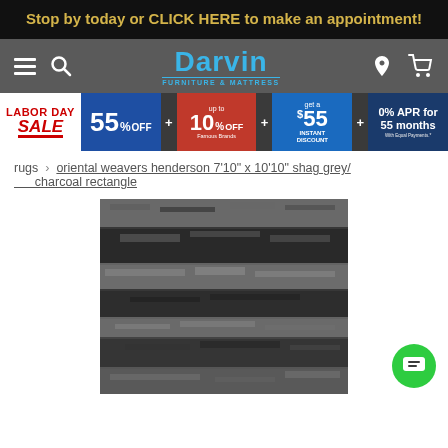Stop by today or CLICK HERE to make an appointment!
[Figure (logo): Darvin Furniture & Mattress logo in blue text on grey background with hamburger menu, search, location, and cart icons]
[Figure (infographic): Labor Day Sale banner: 55% OFF + up to 10% OFF + $55 INSTANT DISCOUNT + 0% APR for 55 months]
rugs › oriental weavers henderson 7'10" x 10'10" shag grey/charcoal rectangle
[Figure (photo): Close-up product photo of a grey/charcoal shag rug with subtle striped pattern]